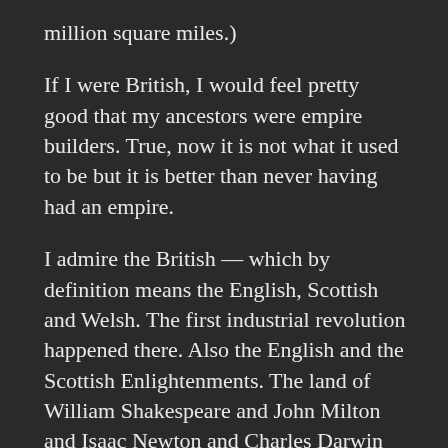million square miles.)
If I were British, I would feel pretty good that my ancestors were empire builders. True, now it is not what it used to be but it is better than never having had an empire.
I admire the British — which by definition means the English, Scottish and Welsh. The first industrial revolution happened there. Also the English and the Scottish Enlightenments. The land of William Shakespeare and John Milton and Isaac Newton and Charles Darwin and Bertrand Russell and Lewis Carrol and David Hume and Adam Smith. Because of the British